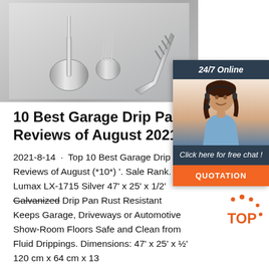[Figure (photo): Kitchen utensils (spoon, salad servers, spatula) on a grey background]
[Figure (infographic): 24/7 Online chat widget with customer service representative and QUOTATION button]
10 Best Garage Drip Pan Reviews of August 2021
2021-8-14 · Top 10 Best Garage Drip Pan Reviews of August (*10*) '. Sale Rank. Lumax LX-1715 Silver 47' x 25' x 1/2' Galvanized Drip Pan Rust Resistant Keeps Garage, Driveways or Automotive Show-Room Floors Safe and Clean from Fluid Drippings. Dimensions: 47' x 25' x ½' 120 cm x 64 cm x 13
[Figure (logo): TOP badge logo in orange with dots]